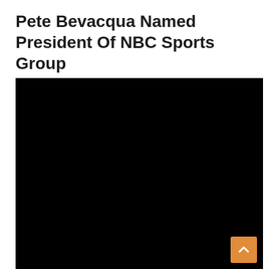Pete Bevacqua Named President Of NBC Sports Group
July 24, 2018   News   Comments Off
[Figure (photo): A large black rectangle occupying the lower portion of the page, representing a dark/unloaded image or video placeholder.]